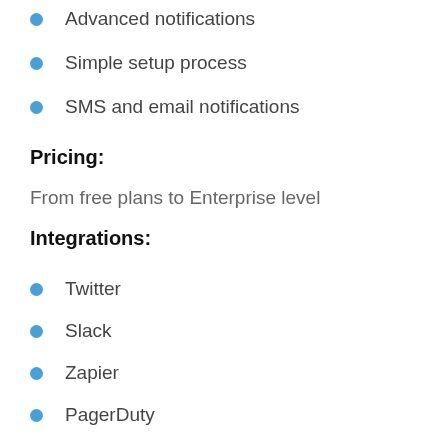Advanced notifications
Simple setup process
SMS and email notifications
Pricing:
From free plans to Enterprise level
Integrations:
Twitter
Slack
Zapier
PagerDuty